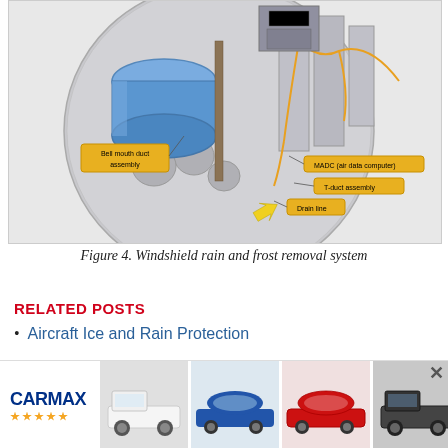[Figure (engineering-diagram): Cross-section diagram of a windshield rain and frost removal system showing bell mouth duct assembly, MADC (air data computer), T-duct assembly, and drain line components with orange callout labels and connecting lines]
Figure 4. Windshield rain and frost removal system
RELATED POSTS
Aircraft Ice and Rain Protection
[Figure (photo): CarMax advertisement banner showing CarMax logo with gold stars and four car thumbnails: white pickup truck, blue sports car (Corvette), red sports car (Corvette), and dark pickup truck]